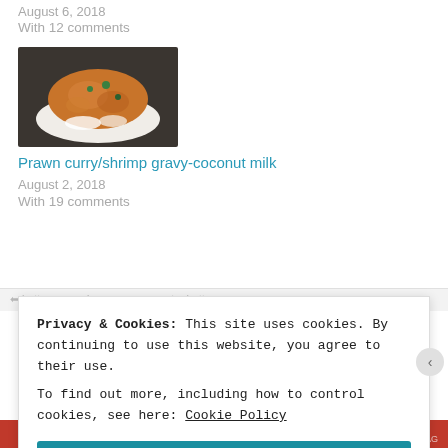August 6, 2018
With 12 comments
[Figure (photo): Photo of prawn curry/shrimp gravy with coconut milk served over white rice on a dark plate]
Prawn curry/shrimp gravy-coconut milk
August 2, 2018
With 19 comments
Privacy & Cookies: This site uses cookies. By continuing to use this website, you agree to their use.
To find out more, including how to control cookies, see here: Cookie Policy
Close and accept